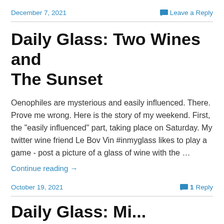December 7, 2021 | Leave a Reply
Daily Glass: Two Wines and The Sunset
Oenophiles are mysterious and easily influenced. There. Prove me wrong. Here is the story of my weekend. First, the "easily influenced" part, taking place on Saturday. My twitter wine friend Le Bov Vin #inmyglass likes to play a game - post a picture of a glass of wine with the …
Continue reading →
October 19, 2021 | 1 Reply
Daily Glass: Mi...